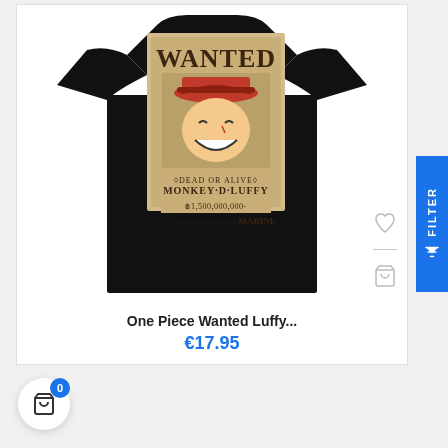[Figure (photo): Black t-shirt with One Piece Monkey D. Luffy 'WANTED Dead or Alive' poster graphic print showing Luffy smiling with bounty of 1,500,000,000 Berries, issued by Marine]
One Piece Wanted Luffy...
€17.95